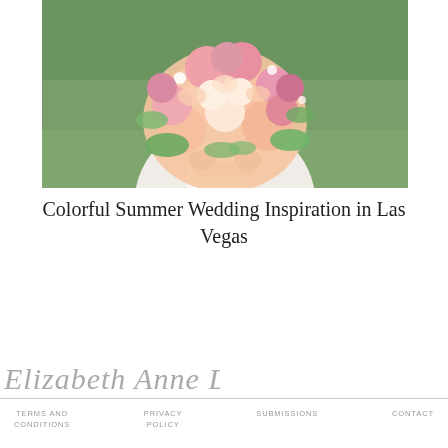[Figure (photo): A bride in a white dress holding a large colorful bouquet of pink, peach, and cream roses and garden flowers with green foliage, standing outdoors on green grass.]
Colorful Summer Wedding Inspiration in Las Vegas
[Figure (logo): Elizabeth Anne Designs script/cursive logo in gray]
TERMS AND CONDITIONS   PRIVACY POLICY   SUBMISSIONS   CONTACT